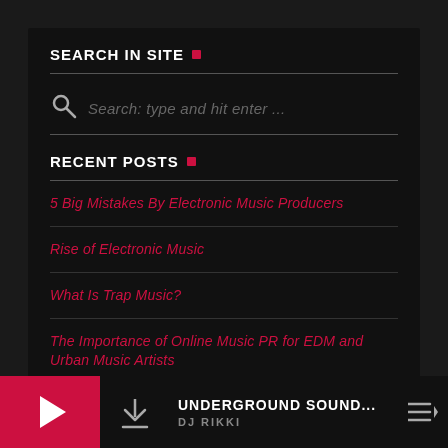SEARCH IN SITE
Search: type and hit enter ...
RECENT POSTS
5 Big Mistakes By Electronic Music Producers
Rise of Electronic Music
What Is Trap Music?
The Importance of Online Music PR for EDM and Urban Music Artists
New Zealand Music Festival Survey
UNDERGROUND SOUND... DJ RIKKI